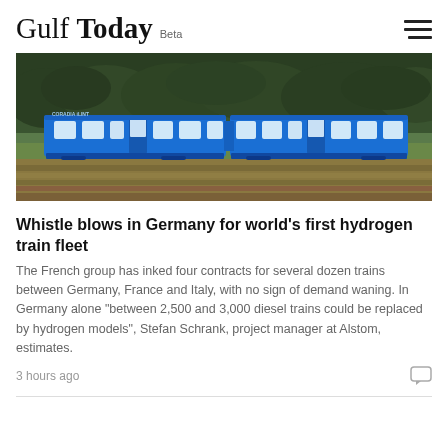Gulf Today Beta
[Figure (photo): A blue hydrogen-powered passenger train (Coradia iLint by Alstom) traveling through a field with brown harvested crops and a dense dark green forest/treeline in the background. The train has two carriages connected together, painted bright blue with white window frames.]
Whistle blows in Germany for world’s first hydrogen train fleet
The French group has inked four contracts for several dozen trains between Germany, France and Italy, with no sign of demand waning. In Germany alone "between 2,500 and 3,000 diesel trains could be replaced by hydrogen models", Stefan Schrank, project manager at Alstom, estimates.
3 hours ago